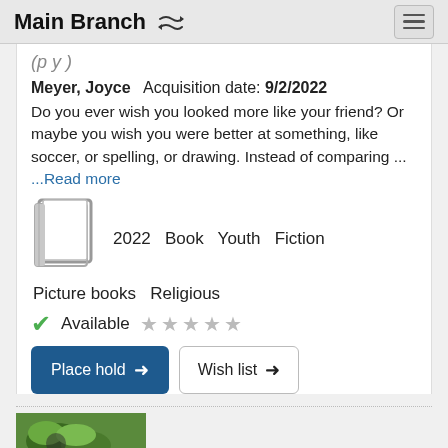Main Branch
Meyer, Joyce   Acquisition date: 9/2/2022
Do you ever wish you looked more like your friend? Or maybe you wish you were better at something, like soccer, or spelling, or drawing. Instead of comparing ...
...Read more
2022   Book   Youth   Fiction
Picture books   Religious
Available
Place hold
Wish list
[Figure (photo): Partial image at bottom of page, appears to show foliage or an animal in a natural setting]